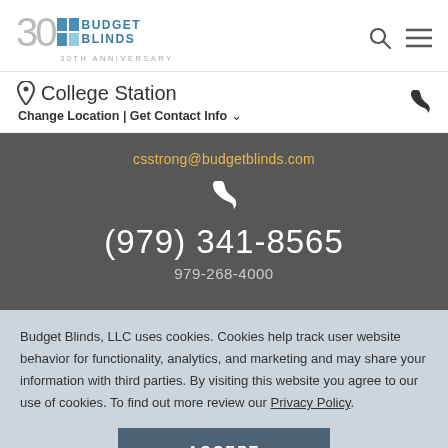[Figure (logo): Budget Blinds 30th Anniversary logo with two blue squares and stylized '30']
College Station
Change Location | Get Contact Info
csstrong@budgetblinds.com
(979) 341-8565
979-268-4000
Budget Blinds, LLC uses cookies. Cookies help track user website behavior for functionality, analytics, and marketing and may share your information with third parties. By visiting this website you agree to our use of cookies. To find out more review our Privacy Policy.
ACCEPT